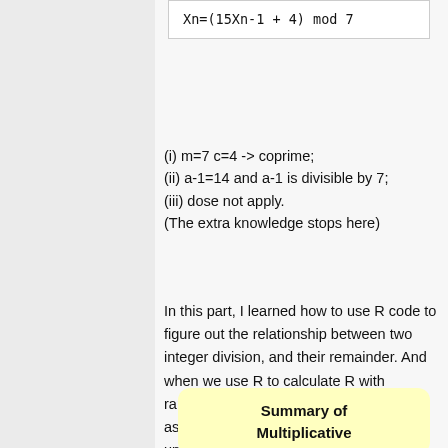(i) m=7 c=4 -> coprime;
(ii) a-1=14 and a-1 is divisible by 7;
(iii) dose not apply.
(The extra knowledge stops here)
In this part, I learned how to use R code to figure out the relationship between two integer division, and their remainder. And when we use R to calculate R with random variables for a range such as(1:1000),the graph of distribution is like uniform distribution.
Summary of Multiplicative